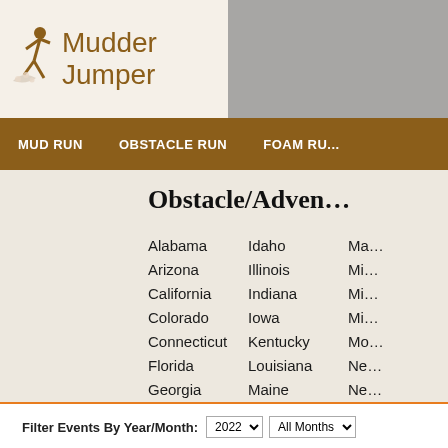[Figure (logo): Mudder Jumper logo with running figure silhouette and floral branch]
MUD RUN   OBSTACLE RUN   FOAM RU...
Obstacle/Adven...
Alabama
Arizona
California
Colorado
Connecticut
Florida
Georgia
Hawaii
Idaho
Illinois
Indiana
Iowa
Kentucky
Louisiana
Maine
Maryland
Ma...
Mi...
Mi...
Mi...
Mo...
Ne...
Ne...
Ne...
Filter Events By Year/Month: 2022  All Months